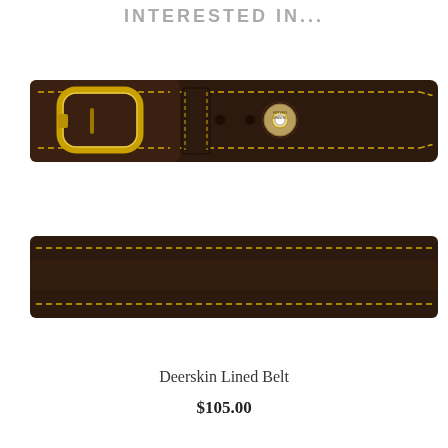INTERESTED IN...
[Figure (photo): Brown leather belt with yellow stitching, brass buckle and branded snap button detail, photographed from above showing buckle end]
[Figure (photo): Brown leather belt with yellow stitching, showing the middle/tail section of the belt without buckle]
Deerskin Lined Belt
$105.00